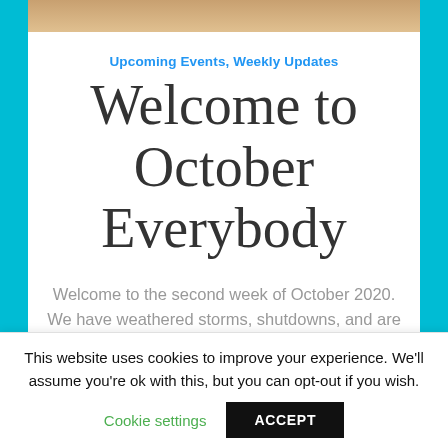[Figure (photo): Top portion of a photo, appears to show outdoor scene with warm tones]
Upcoming Events, Weekly Updates
Welcome to October Everybody
Welcome to the second week of October 2020. We have weathered storms, shutdowns, and are still bracing for the upcoming elections. No matter what your party affiliations or political leanings we
This website uses cookies to improve your experience. We'll assume you're ok with this, but you can opt-out if you wish.
Cookie settings
ACCEPT